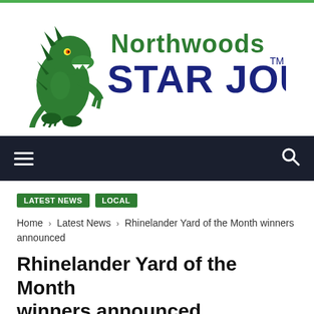[Figure (logo): Northwoods Star Journal logo with green dragon mascot and bold text]
Navigation bar with hamburger menu and search icon
LATEST NEWS
LOCAL
Home › Latest News › Rhinelander Yard of the Month winners announced
Rhinelander Yard of the Month winners announced
JULY 14, 2014  /  0